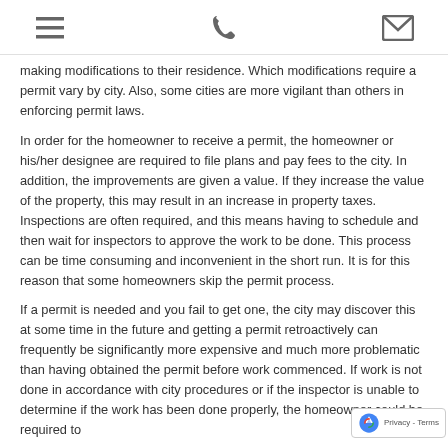menu | phone | email icons
making modifications to their residence. Which modifications require a permit vary by city. Also, some cities are more vigilant than others in enforcing permit laws.
In order for the homeowner to receive a permit, the homeowner or his/her designee are required to file plans and pay fees to the city. In addition, the improvements are given a value. If they increase the value of the property, this may result in an increase in property taxes. Inspections are often required, and this means having to schedule and then wait for inspectors to approve the work to be done. This process can be time consuming and inconvenient in the short run. It is for this reason that some homeowners skip the permit process.
If a permit is needed and you fail to get one, the city may discover this at some time in the future and getting a permit retroactively can frequently be significantly more expensive and much more problematic than having obtained the permit before work commenced. If work is not done in accordance with city procedures or if the inspector is unable to determine if the work has been done properly, the homeowner could be required to